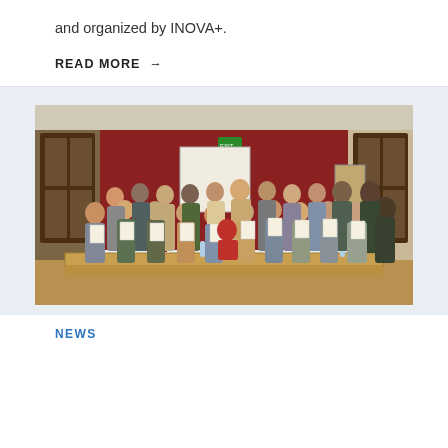and organized by INOVA+.
READ MORE →
[Figure (photo): Group photo of approximately 18 people standing in a room with red walls and wood bookshelves, each holding up certificates/diplomas. A table with water bottles and national flags (Spain, EU, and others) is visible in the foreground.]
NEWS